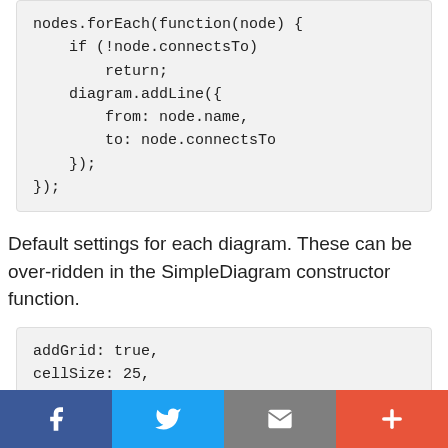nodes.forEach(function(node) {
    if (!node.connectsTo)
        return;
    diagram.addLine({
        from: node.name,
        to: node.connectsTo
    });
});
Default settings for each diagram. These can be over-ridden in the SimpleDiagram constructor function.
addGrid: true,
cellSize: 25,